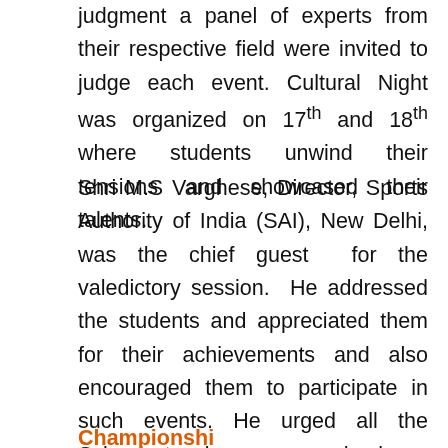judgment a panel of experts from their respective field were invited to judge each event. Cultural Night was organized on 17th and 18th where students unwind their tensions and showcased their talents.
Shri M.S Varghese, Director, Sports Authority of India (SAI), New Delhi, was the chief guest for the valedictory session. He addressed the students and appreciated them for their achievements and also encouraged them to participate in such events. He urged all the Schools to give more emphasis on sports so that MGM Group can in future produce Olympic medalists. Prize distribution ceremony was also held for the winners of the various events.
Championshi...